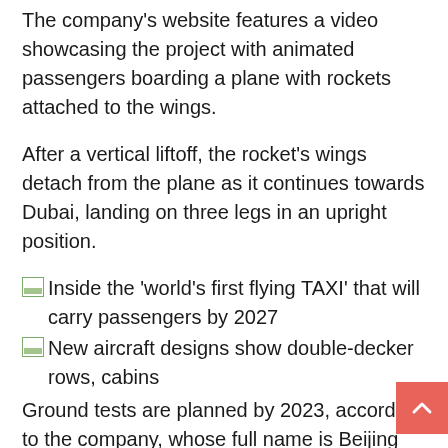The company's website features a video showcasing the project with animated passengers boarding a plane with rockets attached to the wings.
After a vertical liftoff, the rocket's wings detach from the plane as it continues towards Dubai, landing on three legs in an upright position.
Inside the 'world's first flying TAXI' that will carry passengers by 2027
New aircraft designs show double-decker rows, cabins
Ground tests are planned by 2023, according to the company, whose full name is Beijing Lingkong Tianxing Technology Co, Ltd.
The first flight is scheduled for 2024, with a crewed flight a year later.
A test flight for a crewed global or orbital space vehicle is also planned by 2030, according to the company, which was founded in 2018.